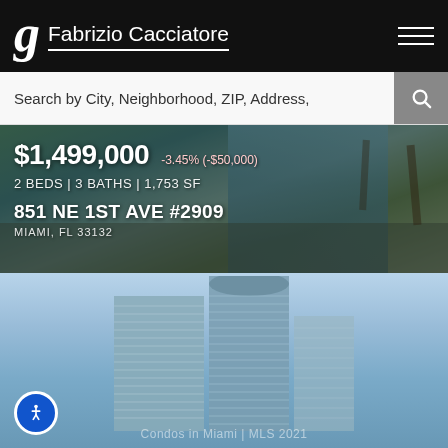Fabrizio Cacciatore
Search by City, Neighborhood, ZIP, Address,
[Figure (photo): Luxury condominium exterior with pool and palm trees, listing overlay showing $1,499,000, -3.45% (-$50,000), 2 BEDS | 3 BATHS | 1,753 SF, 851 NE 1ST AVE #2909, MIAMI, FL 33132]
[Figure (photo): Tall modern glass skyscraper building against blue sky, with watermark text reading something related to Miami MLS 2021]